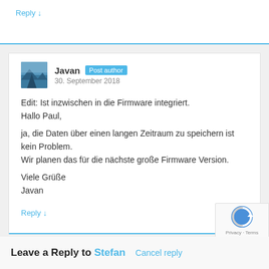Reply ↓
Javan  Post author
30. September 2018
Edit: Ist inzwischen in die Firmware integriert.
Hallo Paul,

ja, die Daten über einen langen Zeitraum zu speichern ist kein Problem.
Wir planen das für die nächste große Firmware Version.

Viele Grüße
Javan
Reply ↓
Leave a Reply to Stefan  Cancel reply